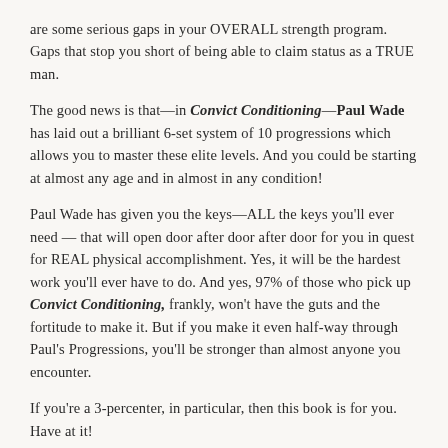are some serious gaps in your OVERALL strength program. Gaps that stop you short of being able to claim status as a TRUE man.
The good news is that—in Convict Conditioning—Paul Wade has laid out a brilliant 6-set system of 10 progressions which allows you to master these elite levels. And you could be starting at almost any age and in almost in any condition!
Paul Wade has given you the keys—ALL the keys you'll ever need — that will open door after door after door for you in quest for REAL physical accomplishment. Yes, it will be the hardest work you'll ever have to do. And yes, 97% of those who pick up Convict Conditioning, frankly, won't have the guts and the fortitude to make it. But if you make it even half-way through Paul's Progressions, you'll be stronger than almost anyone you encounter.
If you're a 3-percenter, in particular, then this book is for you. Have at it!